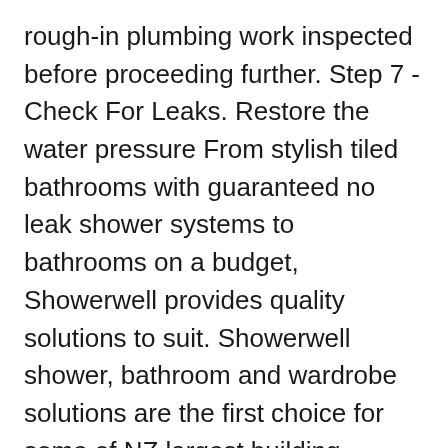rough-in plumbing work inspected before proceeding further. Step 7 - Check For Leaks. Restore the water pressure From stylish tiled bathrooms with guaranteed no leak shower systems to bathrooms on a budget, Showerwell provides quality solutions to suit. Showerwell shower, bathroom and wardrobe solutions are the first choice for some of NZ largest building companies. Chances are you already have Showerwell products in your home today.
concerns regarding your Mirolin product, please contact Mirolin Customer Care at 800.MIROLIN(647-6546) and speak to one of our highly trained, professional customer care representatives.) Live Customer Care is available